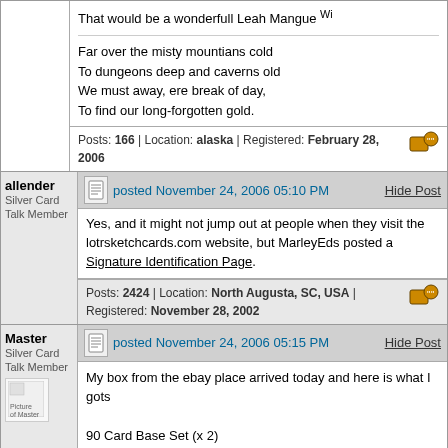That would be a wonderfull Leah Mangue Wi
Far over the misty mountians cold
To dungeons deep and caverns old
We must away, ere break of day,
To find our long-forgotten gold.
Posts: 166 | Location: alaska | Registered: February 28, 2006
allender
Silver Card Talk Member
posted November 24, 2006 05:10 PM
Yes, and it might not jump out at people when they visit the lotrsketchcards.com website, but MarleyEds posted a Signature Identification Page.
Posts: 2424 | Location: North Augusta, SC, USA | Registered: November 28, 2002
Master
Silver Card Talk Member
posted November 24, 2006 05:15 PM
My box from the ebay place arrived today and here is what I gots
90 Card Base Set (x 2)
Etched-Foil Puzzle Card Set (6 Cards)
Foil Art Card Set (1:4 packs)
1 of 9 (Aragorn)